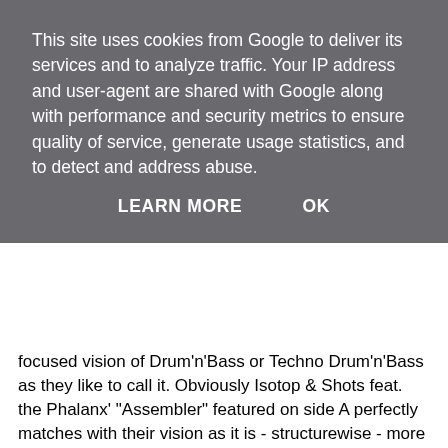This site uses cookies from Google to deliver its services and to analyze traffic. Your IP address and user-agent are shared with Google along with performance and security metrics to ensure quality of service, generate usage statistics, and to detect and address abuse.
LEARN MORE   OK
focused vision of Drum'n'Bass or Techno Drum'n'Bass as they like to call it. Obviously Isotop & Shots feat. the Phalanx' "Assembler" featured on side A perfectly matches with their vision as it is - structurewise - more LoopTechno than Drum'n'Bass although the beat is still a broken one. The tracks tension results only out of the addition, subtraction and change of looped elements in a continuos mode and doesn't care about huge build ups or big breakdowns so much. This is a plain and simple DJ-tool and I presume that it's not too far away that Tilt Recordings are providing a set of 180 bpm-locked groove discs instead of tracks to the masses. Although check out "Assembler"'s athmospheric outro that makes clear that they've been thinking closely about what to do or not. Budoka's "Aether" on the flip once again showcases his ongoing development within the sub